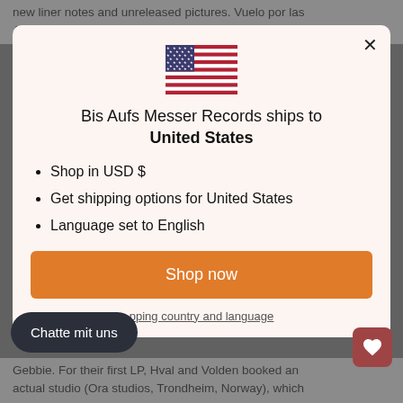new liner notes and unreleased pictures. Vuelo por las Alturas de Alhambra is a recommended listening for
[Figure (illustration): US flag emoji / illustration centered in modal]
Bis Aufs Messer Records ships to United States
Shop in USD $
Get shipping options for United States
Language set to English
Shop now
pping country and language
Chatte mit uns
Gebbie. For their first LP, Hval and Volden booked an actual studio (Ora studios, Trondheim, Norway), which